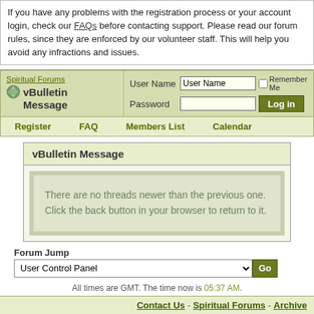If you have any problems with the registration process or your account login, check our FAQs before contacting support. Please read our forum rules, since they are enforced by our volunteer staff. This will help you avoid any infractions and issues.
[Figure (screenshot): vBulletin forum header with login fields for User Name and Password, Remember Me checkbox, Log In button, and navigation links: Register, FAQ, Members List, Calendar]
vBulletin Message
There are no threads newer than the previous one. Click the back button in your browser to return to it.
Forum Jump
User Control Panel
All times are GMT. The time now is 05:37 AM.
Contact Us - Spiritual Forums - Archive
Powered by vBulletin
Copyright ©2000 - 2022, Jelsoft Enterprises Ltd.
(c) Spiritual Forums